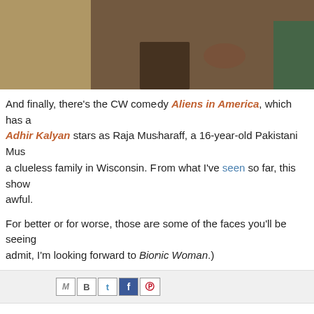[Figure (photo): Photo of people sitting at a dining table with food, drinks and plates visible. Cropped at the top of the page.]
And finally, there's the CW comedy Aliens in America, which has a... Adhir Kalyan stars as Raja Musharaff, a 16-year-old Pakistani Mus... a clueless family in Wisconsin. From what I've seen so far, this show... awful.
For better or for worse, those are some of the faces you'll be seeing... admit, I'm looking forward to Bionic Woman.)
[Figure (other): Share bar with social media icons: Gmail, Blogger, Twitter, Facebook, Pinterest]
Newer Post · · · · · · · · · · · · · Home · · View mobile version